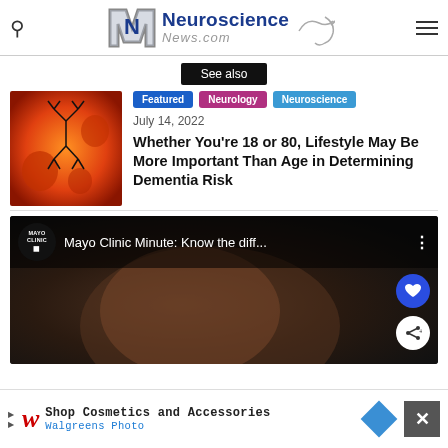Neuroscience News.com
See also
Featured  Neurology  Neuroscience
July 14, 2022
Whether You’re 18 or 80, Lifestyle May Be More Important Than Age in Determining Dementia Risk
[Figure (photo): Orange and red microscopy-style scientific image with dark branching structure]
[Figure (screenshot): Mayo Clinic video thumbnail: Mayo Clinic Minute: Know the diff... with a person's head visible in a dark background]
Shop Cosmetics and Accessories
Walgreens Photo